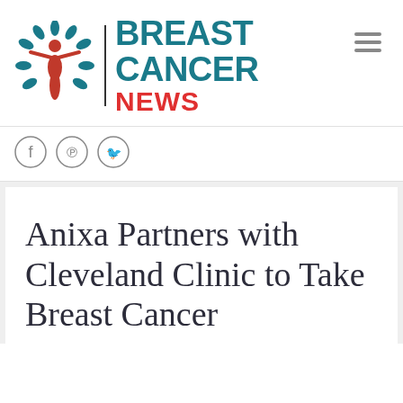[Figure (logo): Breast Cancer News logo with teal leaf figure icon, vertical divider, and text 'BREAST CANCER NEWS']
[Figure (other): Hamburger menu icon (three horizontal lines)]
[Figure (other): Social media icons: Facebook, Pinterest, Twitter circles]
Anixa Partners with Cleveland Clinic to Take Breast Cancer